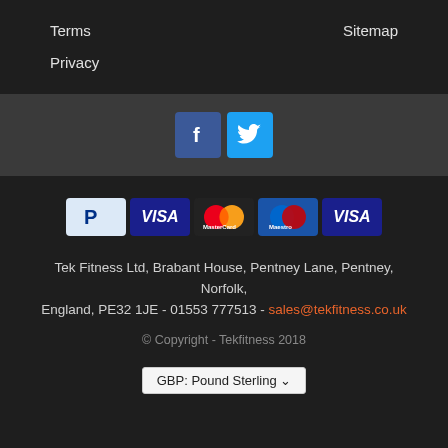Terms
Sitemap
Privacy
[Figure (logo): Facebook and Twitter social media icons]
[Figure (logo): Payment method icons: PayPal, Visa, MasterCard, Maestro, Visa]
Tek Fitness Ltd, Brabant House, Pentney Lane, Pentney, Norfolk, England, PE32 1JE - 01553 777513 - sales@tekfitness.co.uk
© Copyright - Tekfitness 2018
GBP: Pound Sterling